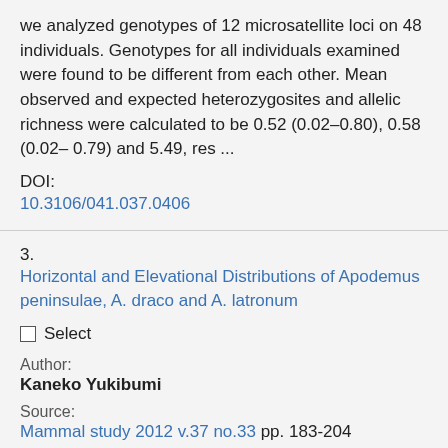we analyzed genotypes of 12 microsatellite loci on 48 individuals. Genotypes for all individuals examined were found to be different from each other. Mean observed and expected heterozygosites and allelic richness were calculated to be 0.52 (0.02–0.80), 0.58 (0.02– 0.79) and 5.49, res ...
DOI:
10.3106/041.037.0406
3. Horizontal and Elevational Distributions of Apodemus peninsulae, A. draco and A. latronum
Select
Author:
Kaneko Yukibumi
Source:
Mammal study 2012 v.37 no.33 pp. 183-204
ISSN:
1343-4152